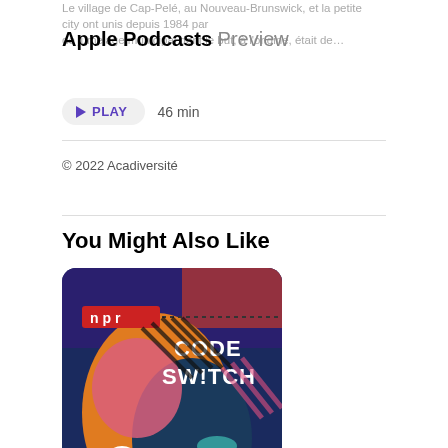Le village de Cap-Pelé, au Nouveau-Brunswick, et la petite city ont unis depuis 1984 par de jumelage municipal dont le but, à l'origine, était de…
Apple Podcasts Preview
PLAY  46 min
© 2022 Acadiversité
You Might Also Like
[Figure (photo): NPR Code Switch podcast cover art showing stylized colorful illustration of faces]
Code Switch
NPR